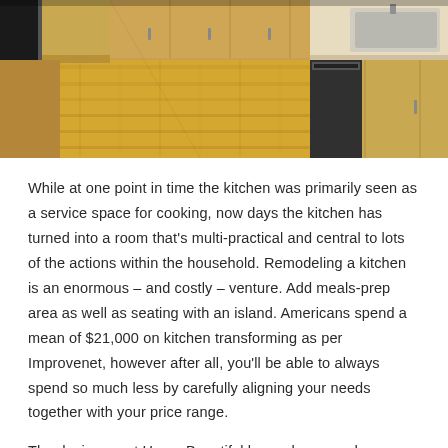[Figure (photo): Interior photo of a kitchen showing wooden cabinets, hardwood flooring, countertops, and kitchen appliances including a dishwasher and sink.]
While at one point in time the kitchen was primarily seen as a service space for cooking, now days the kitchen has turned into a room that's multi-practical and central to lots of the actions within the household. Remodeling a kitchen is an enormous – and costly – venture. Add meals-prep area as well as seating with an island. Americans spend a mean of $21,000 on kitchen transforming as per Improvenet, however after all, you'll be able to always spend so much less by carefully aligning your needs together with your price range.
The designers at Home Beautiful have showcased